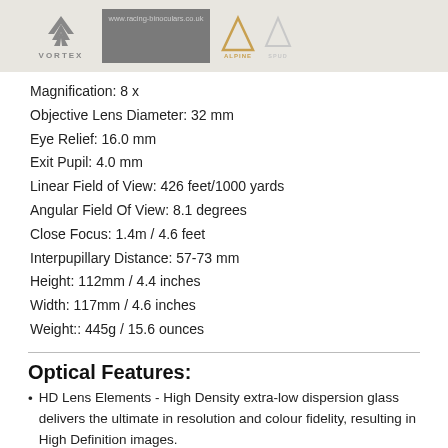VORTEX | www.racing-binoculars.co.uk | ALPINE | SPUD
Magnification: 8 x
Objective Lens Diameter: 32 mm
Eye Relief: 16.0 mm
Exit Pupil: 4.0 mm
Linear Field of View: 426 feet/1000 yards
Angular Field Of View: 8.1 degrees
Close Focus: 1.4m / 4.6 feet
Interpupillary Distance: 57-73 mm
Height: 112mm / 4.4 inches
Width: 117mm / 4.6 inches
Weight:: 445g / 15.6 ounces
Optical Features:
HD Lens Elements - High Density extra-low dispersion glass delivers the ultimate in resolution and colour fidelity, resulting in High Definition images.